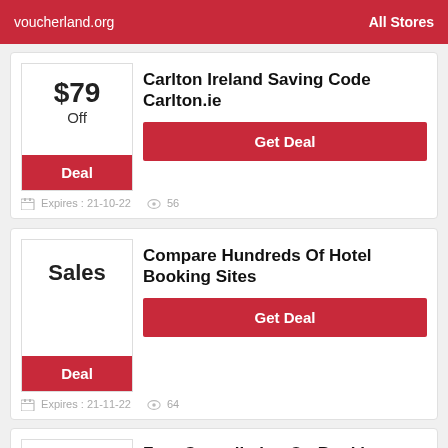voucherland.org   All Stores
$79 Off | Deal | Carlton Ireland Saving Code Carlton.ie | Get Deal | Expires: 21-10-22 | 56 views
Sales | Deal | Compare Hundreds Of Hotel Booking Sites | Get Deal | Expires: 21-11-22 | 64 views
Free Cancellation On Bookings Before 24 Hours | Carlton